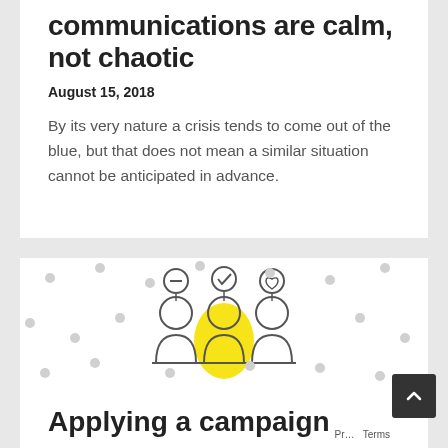communications are calm, not chaotic
August 15, 2018
By its very nature a crisis tends to come out of the blue, but that does not mean a similar situation cannot be anticipated in advance.
[Figure (illustration): Three people icons with speech/thought bubbles above their heads. The middle person is highlighted in yellow.]
Applying a campaign